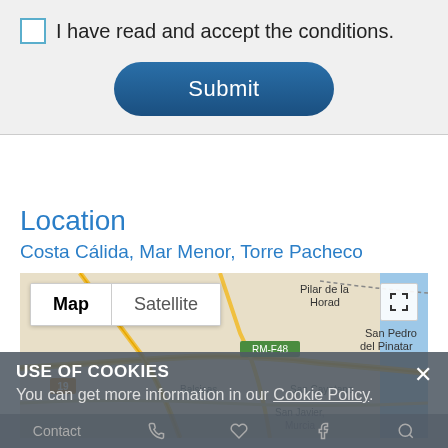I have read and accept the conditions.
Submit
Location
Costa Cálida, Mar Menor, Torre Pacheco
[Figure (map): Google Map showing area around Torre Pacheco, Spain, with Map/Satellite toggle and fullscreen button. Visible labels: Pilar de la Horadada, San Pedro del Pinatar, Balsicas, San Cayetano, San Javier Murcia, RM-F48 road label, route 19.]
USE OF COOKIES
You can get more information in our Cookie Policy.